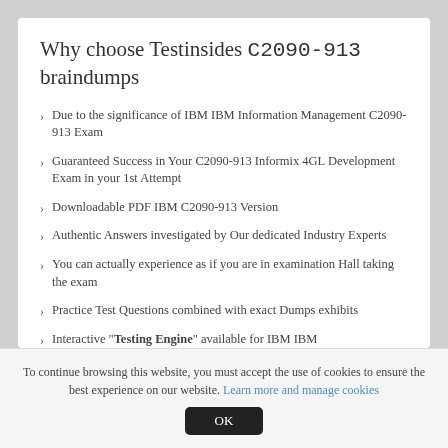Why choose Testinsides C2090-913 braindumps
Due to the significance of IBM IBM Information Management C2090-913 Exam
Guaranteed Success in Your C2090-913 Informix 4GL Development Exam in your 1st Attempt
Downloadable PDF IBM C2090-913 Version
Authentic Answers investigated by Our dedicated Industry Experts
You can actually experience as if you are in examination Hall taking the exam
Practice Test Questions combined with exact Dumps exhibits
Interactive "Testing Engine" available for IBM IBM
To continue browsing this website, you must accept the use of cookies to ensure the best experience on our website. Learn more and manage cookies